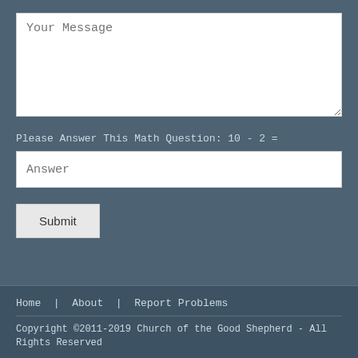Your Message
Please Answer This Math Question: 10 - 2 =
Answer
Submit
Home | About | Report Problems
Copyright ©2011-2019 Church of the Good Shepherd - All Rights Reserved